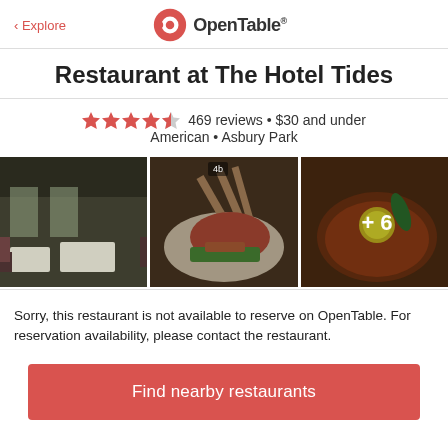< Explore | OpenTable
Restaurant at The Hotel Tides
469 reviews • $30 and under
American • Asbury Park
[Figure (photo): Three restaurant photos: dining room interior, rack of lamb dish, and a stew/soup dish with +6 more indicator]
Sorry, this restaurant is not available to reserve on OpenTable. For reservation availability, please contact the restaurant.
Find nearby restaurants